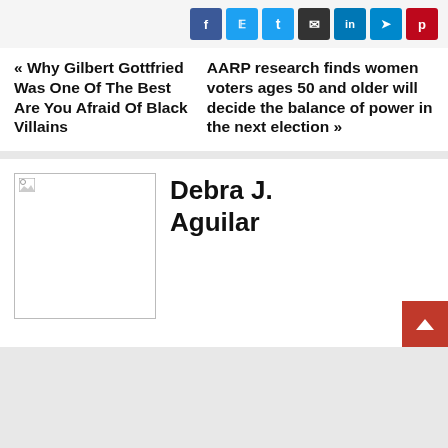[Figure (infographic): Social share buttons: Facebook (blue f), Twitter (light blue bird icon), Email (dark envelope), LinkedIn (blue 'in'), Telegram (blue paper-plane), Pinterest (red 'p')]
« Why Gilbert Gottfried Was One Of The Best Are You Afraid Of Black Villains
AARP research finds women voters ages 50 and older will decide the balance of power in the next election »
[Figure (photo): Author photo placeholder for Debra J. Aguilar — broken image icon in top-left, white rectangle with border]
Debra J. Aguilar